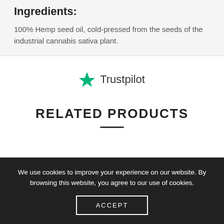Ingredients:
100% Hemp seed oil, cold-pressed from the seeds of the industrial cannabis sativa plant.
[Figure (logo): Trustpilot logo with green star and text 'Trustpilot']
RELATED PRODUCTS
We use cookies to improve your experience on our website. By browsing this website, you agree to our use of cookies.
ACCEPT